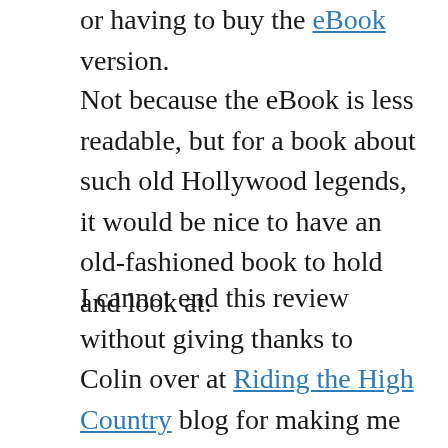or having to buy the eBook version.
Not because the eBook is less readable, but for a book about such old Hollywood legends, it would be nice to have an old-fashioned book to hold and look at.
I cannot end this review without giving thanks to Colin over at Riding the High Country blog for making me aware of this book through his excellent review of it.
If you are into books about the entertainment business this will be a 5 out of 5 stars. Only the rules of math keep me